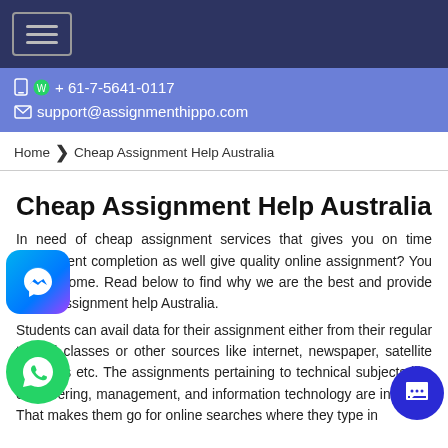Navigation bar with menu toggle button
+ 61-7-5641-0117
support@assignmenthippo.com
Home > Cheap Assignment Help Australia
Cheap Assignment Help Australia
In need of cheap assignment services that gives you on time assignment completion as well give quality online assignment? You are welcome. Read below to find why we are the best and provide cheap assignment help Australia.
Students can avail data for their assignment either from their regular tutorial classes or other sources like internet, newspaper, satellite channels etc. The assignments pertaining to technical subjects like engineering, management, and information technology are intricate. That makes them go for online searches where they type in